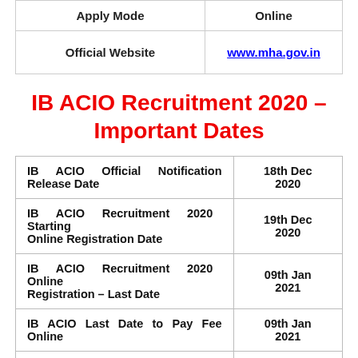| Apply Mode | Online |
| --- | --- |
| Official Website | www.mha.gov.in |
IB ACIO Recruitment 2020 – Important Dates
| Event | Date |
| --- | --- |
| IB ACIO Official Notification Release Date | 18th Dec 2020 |
| IB ACIO Recruitment 2020 Starting Online Registration Date | 19th Dec 2020 |
| IB ACIO Recruitment 2020 Online Registration – Last Date | 09th Jan 2021 |
| IB ACIO Last Date to Pay Fee Online | 09th Jan 2021 |